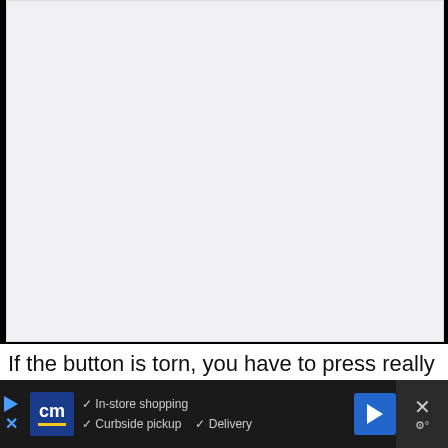[Figure (photo): A large light gray rectangular image placeholder area occupying the upper portion of the page.]
If the button is torn, you have to press really hard with your nail, or the button is
[Figure (screenshot): Advertisement bar at the bottom: CM logo on dark background with checkmarks for In-store shopping, Curbside pickup, Delivery, a blue navigation arrow icon, and a close X button with weather icon.]